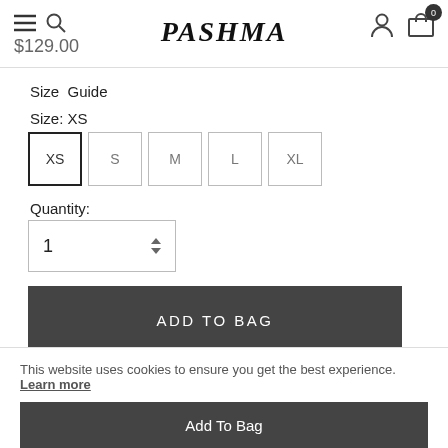PASHMA — navigation header with hamburger, search, logo, user icon, cart (0)
$129.00
Size  Guide
Size: XS
XS  S  M  L  XL
Quantity:
1
ADD TO BAG
This website uses cookies to ensure you get the best experience. Learn more
Add To Bag